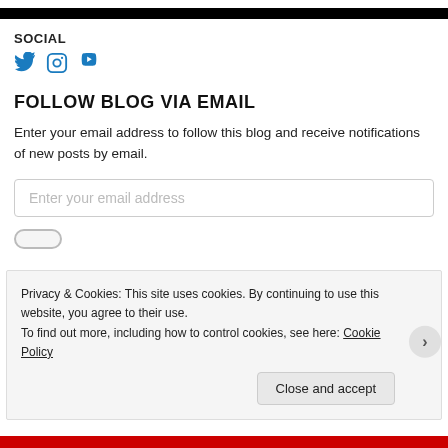[Figure (other): Black horizontal bar divider]
SOCIAL
[Figure (other): Social media icons: Twitter, Instagram, YouTube in blue]
FOLLOW BLOG VIA EMAIL
Enter your email address to follow this blog and receive notifications of new posts by email.
Enter your email address
Privacy & Cookies: This site uses cookies. By continuing to use this website, you agree to their use. To find out more, including how to control cookies, see here: Cookie Policy
Close and accept